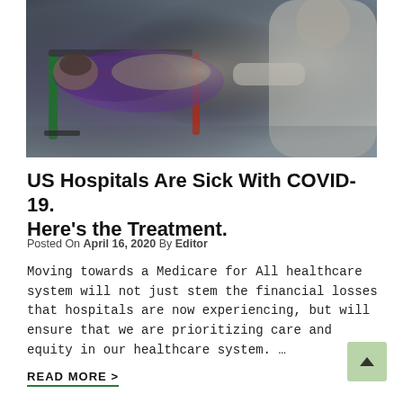[Figure (photo): Medical scene showing a patient on a stretcher/gurney covered in purple and foil wrapping, being attended to by a person in white protective clothing/lab coat. Medical equipment visible including green stand and red stretcher frame.]
US Hospitals Are Sick With COVID-19. Here's the Treatment.
Posted On April 16, 2020  By Editor
Moving towards a Medicare for All healthcare system will not just stem the financial losses that hospitals are now experiencing, but will ensure that we are prioritizing care and equity in our healthcare system. ...
READ MORE >